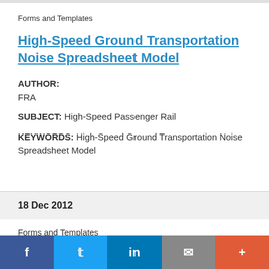Forms and Templates
High-Speed Ground Transportation Noise Spreadsheet Model
AUTHOR: FRA
SUBJECT: High-Speed Passenger Rail
KEYWORDS: High-Speed Ground Transportation Noise Spreadsheet Model
18 Dec 2012
Forms and Templates